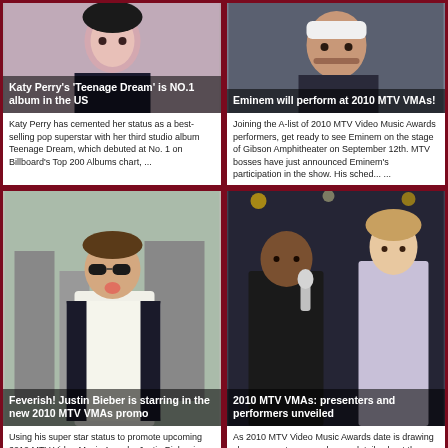[Figure (photo): Photo of Katy Perry]
Katy Perry's 'Teenage Dream' is NO.1 album in the US
Katy Perry has cemented her status as a best-selling pop superstar with her third studio album Teenage Dream, which debuted at No. 1 on Billboard's Top 200 Albums chart, ...
[Figure (photo): Photo of Eminem with white bandana]
Eminem will perform at 2010 MTV VMAs!
Joining the A-list of 2010 MTV Video Music Awards performers, get ready to see Eminem on the stage of Gibson Amphitheater on September 12th. MTV bosses have just announced Eminem's participation in the show. His sched... ...
[Figure (photo): Photo of Justin Bieber making funny face with sunglasses]
Feverish! Justin Bieber is starring in the new 2010 MTV VMAs promo
Using his super star status to promote upcoming 2010 MTV Video Music Awards, Justin Bieber is featured in the
[Figure (photo): Photo of Kanye West and Taylor Swift at MTV VMAs]
2010 MTV VMAs: presenters and performers unveiled
As 2010 MTV Video Music Awards date is drawing closer, we get more and more details about the upcoming show the